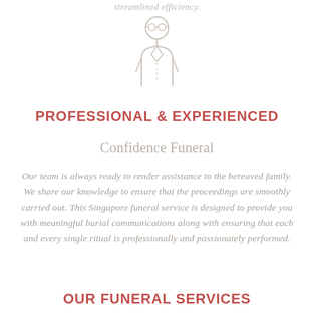streamlined efficiency.
[Figure (illustration): Light gray outline icon of a person/professional figure with glasses, wearing a suit]
PROFESSIONAL & EXPERIENCED
Confidence Funeral
Our team is always ready to render assistance to the bereaved family. We share our knowledge to ensure that the proceedings are smoothly carried out. This Singapore funeral service is designed to provide you with meaningful burial communications along with ensuring that each and every single ritual is professionally and passionately performed.
OUR FUNERAL SERVICES